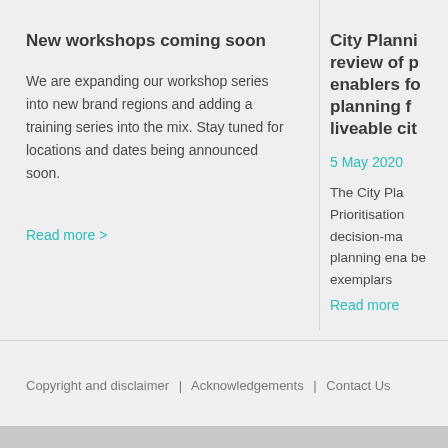New workshops coming soon
We are expanding our workshop series into new brand regions and adding a training series into the mix. Stay tuned for locations and dates being announced soon.
Read more >
City Planning review of planning enablers for better planning for liveable cities
5 May 2020
The City Planning Prioritisation decision-making planning enablers be exemplars
Read more >
Copyright and disclaimer | Acknowledgements | Contact Us